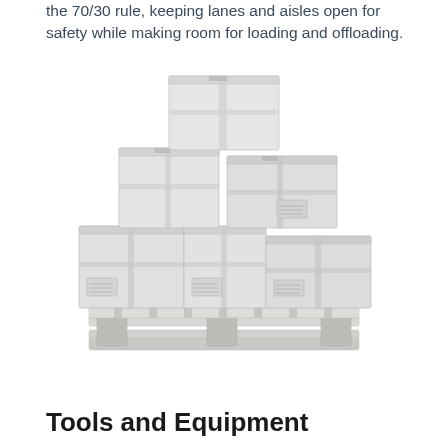the 70/30 rule, keeping lanes and aisles open for safety while making room for loading and offloading.
[Figure (photo): Stack of cardboard boxes arranged in a pyramid on a wooden pallet, isolated on white background.]
Tools and Equipment